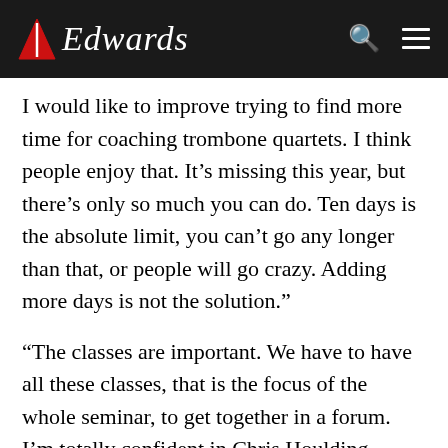Edwards
I would like to improve trying to find more time for coaching trombone quartets. I think people enjoy that. It’s missing this year, but there’s only so much you can do. Ten days is the absolute limit, you can’t go any longer than that, or people will go crazy. Adding more days is not the solution.”
“The classes are important. We have to have all these classes, that is the focus of the whole seminar, to get together in a forum. I’m totally confident in Chris Houlding teaching the auditors, now I’ve found more time to get with